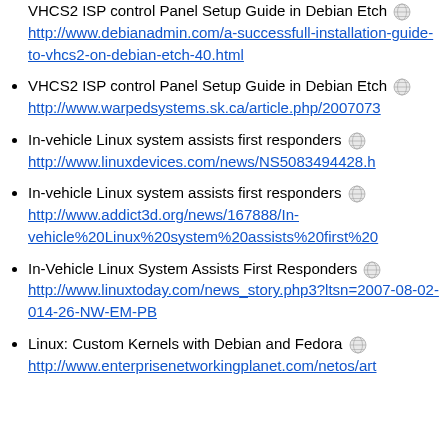VHCS2 ISP control Panel Setup Guide in Debian Etch http://www.debianadmin.com/a-successfull-installation-guide-to-vhcs2-on-debian-etch-40.html
VHCS2 ISP control Panel Setup Guide in Debian Etch http://www.warpedsystems.sk.ca/article.php/2007073
In-vehicle Linux system assists first responders http://www.linuxdevices.com/news/NS5083494428.h
In-vehicle Linux system assists first responders http://www.addict3d.org/news/167888/In-vehicle%20Linux%20system%20assists%20first%20
In-Vehicle Linux System Assists First Responders http://www.linuxtoday.com/news_story.php3?ltsn=2007-08-02-014-26-NW-EM-PB
Linux: Custom Kernels with Debian and Fedora http://www.enterprisenetworkingplanet.com/netos/art